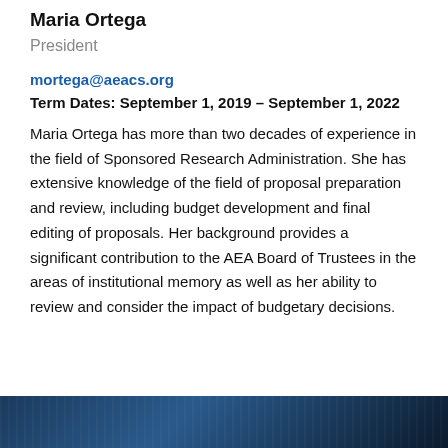Maria Ortega
President
mortega@aeacs.org
Term Dates: September 1, 2019 – September 1, 2022
Maria Ortega has more than two decades of experience in the field of Sponsored Research Administration.  She has extensive knowledge of the field of proposal preparation and review, including budget development and final editing of proposals.  Her background provides a significant contribution to the AEA Board of Trustees in the areas of institutional memory as well as her ability to review and consider the impact of budgetary decisions.
[Figure (photo): Photo strip at bottom of page, dark blue background]